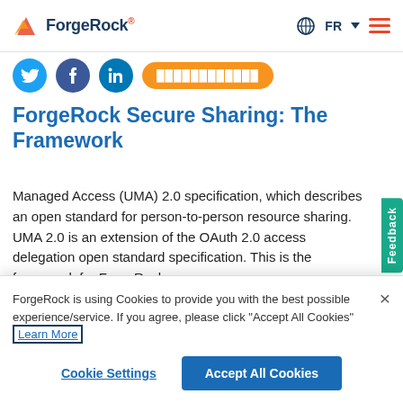ForgeRock | FR
[Figure (screenshot): Social media icons (Twitter, Facebook, LinkedIn) and an orange share button]
ForgeRock Secure Sharing: The Framework
Managed Access (UMA) 2.0 specification, which describes an open standard for person-to-person resource sharing. UMA 2.0 is an extension of the OAuth 2.0 access delegation open standard specification. This is the framework for ForgeRock
ForgeRock is using Cookies to provide you with the best possible experience/service. If you agree, please click "Accept All Cookies" Learn More
Cookie Settings
Accept All Cookies